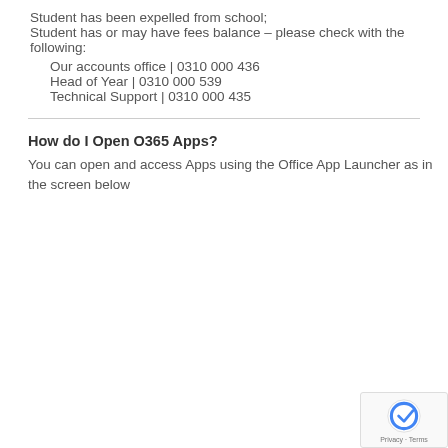Student has been expelled from school;
Student has or may have fees balance – please check with the following:
Our accounts office | 0310 000 436
Head of Year | 0310 000 539
Technical Support | 0310 000 435
How do I Open O365 Apps?
You can open and access Apps using the Office App Launcher as in the screen below
[Figure (logo): reCAPTCHA logo with Privacy and Terms text]